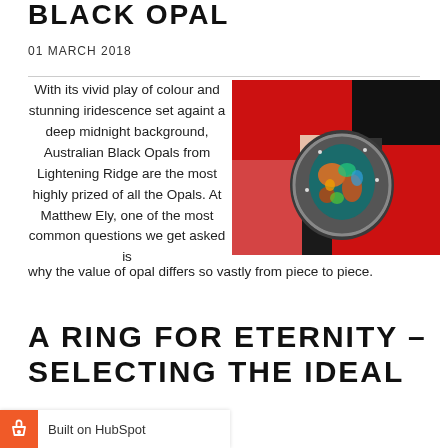BLACK OPAL
01 MARCH 2018
With its vivid play of colour and stunning iridescence set againt a deep midnight background, Australian Black Opals from Lightening Ridge are the most highly prized of all the Opals. At Matthew Ely, one of the most common questions we get asked is why the value of opal differs so vastly from piece to piece.
[Figure (photo): A black opal ring with vivid iridescent colors set on red jewelry boxes against a dark background]
A RING FOR ETERNITY – SELECTING THE IDEAL